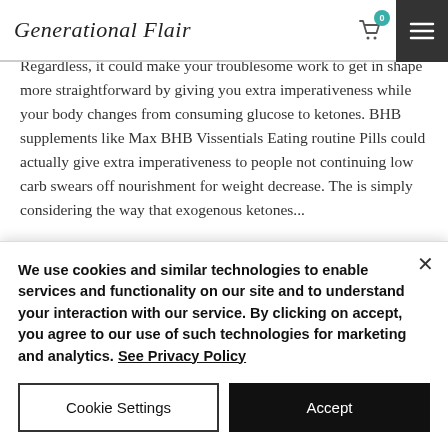Generational Flair
progress that will help them with getting in shape. Max BHB Vissentials doesn't do all awesome work for you! Regardless, it could make your troublesome work to get in shape more straightforward by giving you extra imperativeness while your body changes from consuming glucose to ketones. BHB supplements like Max BHB Vissentials Eating routine Pills could actually give extra imperativeness to people not continuing low carb swears off nourishment for weight decrease. The is simply considering the way that exogenous ketones...
We use cookies and similar technologies to enable services and functionality on our site and to understand your interaction with our service. By clicking on accept, you agree to our use of such technologies for marketing and analytics. See Privacy Policy
Cookie Settings
Accept